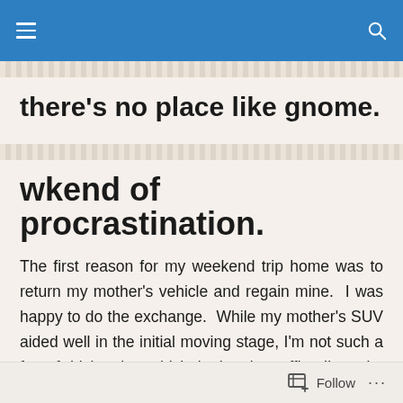there's no place like gnome. [navigation header with hamburger menu and search icon]
there's no place like gnome.
wkend of procrastination.
The first reason for my weekend trip home was to return my mother's vehicle and regain mine. I was happy to do the exchange. While my mother's SUV aided well in the initial moving stage, I'm not such a fan of driving the vehicle in the city traffic. I'm quite content with my small Corolla, thankyouverymuch.
So we did the vehicle exchange. Check. Then I kinda
Follow ...